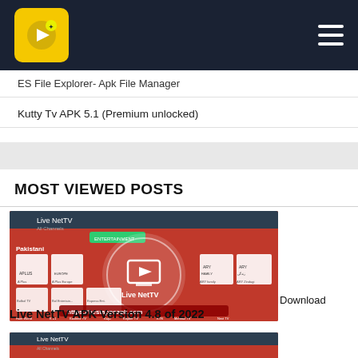bestappsapk.com
ES File Explorer-Apk File Manager
Kutty Tv APK 5.1 (Premium unlocked)
MOST VIEWED POSTS
[Figure (screenshot): Screenshot of Live NetTV app showing Pakistani TV channels including APLUS, ARY Family, ARY Zindagi, Bolbol TV, Bol Entertainment, Express Entertainment, H Now, Hum Europe, Hum Masala, Hum World, K21, Kashmir TV, Kay2, Khyber TV, KTN, Mehnaz TV, Next TV. A red circle with TV icon and 'Live NetTV' text overlaid. URL watermark https://bestappsapk.com shown at bottom.]
Download Live NetTV APK Version 4.8 of 2022
[Figure (screenshot): Partial screenshot of Live NetTV app interface (cropped at bottom of page)]